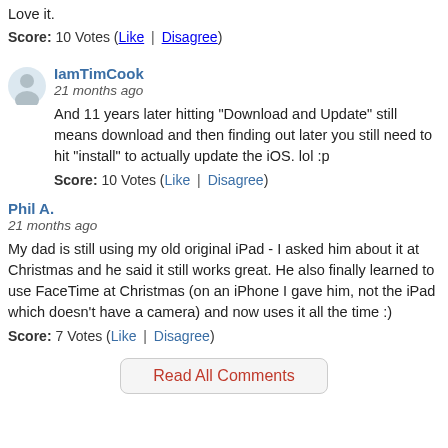Love it.
Score: 10 Votes (Like | Disagree)
IamTimCook
21 months ago
And 11 years later hitting "Download and Update" still means download and then finding out later you still need to hit "install" to actually update the iOS. lol :p
Score: 10 Votes (Like | Disagree)
Phil A.
21 months ago
My dad is still using my old original iPad - I asked him about it at Christmas and he said it still works great. He also finally learned to use FaceTime at Christmas (on an iPhone I gave him, not the iPad which doesn't have a camera) and now uses it all the time :)
Score: 7 Votes (Like | Disagree)
Read All Comments